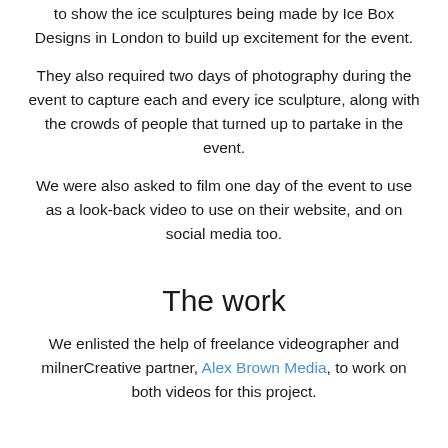to show the ice sculptures being made by Ice Box Designs in London to build up excitement for the event.
They also required two days of photography during the event to capture each and every ice sculpture, along with the crowds of people that turned up to partake in the event.
We were also asked to film one day of the event to use as a look-back video to use on their website, and on social media too.
The work
We enlisted the help of freelance videographer and milnerCreative partner, Alex Brown Media, to work on both videos for this project.